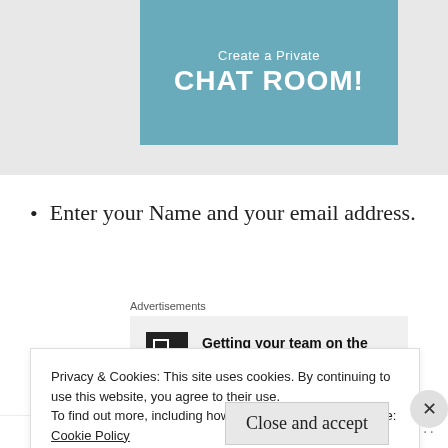[Figure (screenshot): Blue banner/button with text 'Create a Private CHAT ROOM!' on a light gray background]
Enter your Name and your email address.
Advertisements
[Figure (screenshot): Advertisement box with P2 logo and text: Getting your team on the same page is easy. And free.]
Privacy & Cookies: This site uses cookies. By continuing to use this website, you agree to their use.
To find out more, including how to control cookies, see here:
Cookie Policy
Close and accept
Follow